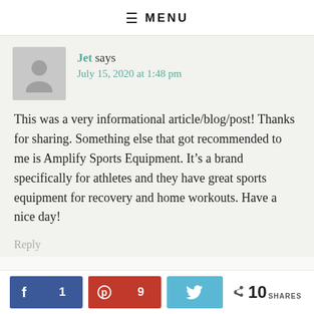≡ MENU
Jet says
July 15, 2020 at 1:48 pm
This was a very informational article/blog/post! Thanks for sharing. Something else that got recommended to me is Amplify Sports Equipment. It's a brand specifically for athletes and they have great sports equipment for recovery and home workouts. Have a nice day!
Reply
f 1  ⊕ 9  🐦  < 10 SHARES